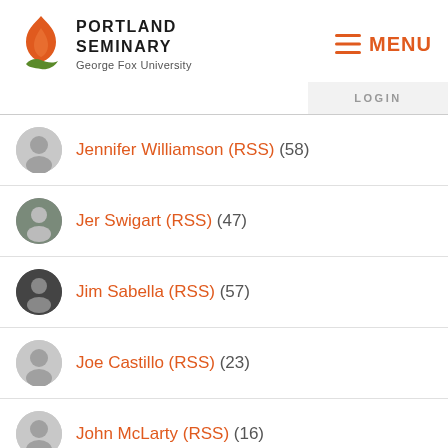[Figure (logo): Portland Seminary - George Fox University logo with orange flame icon]
≡ MENU
LOGIN
Jennifer Williamson (RSS) (58)
Jer Swigart (RSS) (47)
Jim Sabella (RSS) (57)
Joe Castillo (RSS) (23)
John McLarty (RSS) (16)
John Mubanjii (RSS) (47)